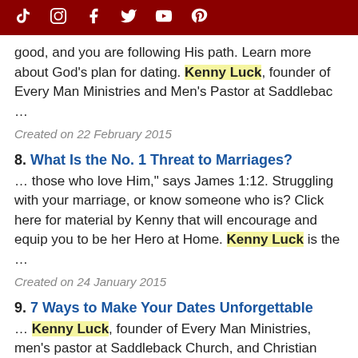Social media icons: TikTok, Instagram, Facebook, Twitter, YouTube, Pinterest
good, and you are following His path. Learn more about God's plan for dating. Kenny Luck, founder of Every Man Ministries and Men's Pastor at Saddlebac …
Created on 22 February 2015
8. What Is the No. 1 Threat to Marriages?
… those who love Him," says James 1:12. Struggling with your marriage, or know someone who is? Click here for material by Kenny that will encourage and equip you to be her Hero at Home. Kenny Luck is the …
Created on 24 January 2015
9. 7 Ways to Make Your Dates Unforgettable
… Kenny Luck, founder of Every Man Ministries, men's pastor at Saddleback Church, and Christian Minister …